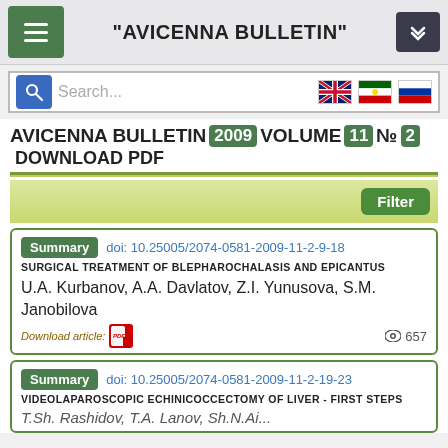"AVICENNA BULLETIN"
AVICENNA BULLETIN 2009 VOLUME 11 №2 DOWNLOAD PDF
Filter
Summary  doi: 10.25005/2074-0581-2009-11-2-9-18
SURGICAL TREATMENT OF BLEPHAROCHALASIS AND EPICANTUS
U.A. Kurbanov, A.A. Davlatov, Z.I. Yunusova, S.M. Janobilova
Download article:  657
Summary  doi: 10.25005/2074-0581-2009-11-2-19-23
VIDEOLAPAROSCOPIC ECHINICOCCECTOMY OF LIVER - FIRST STEPS